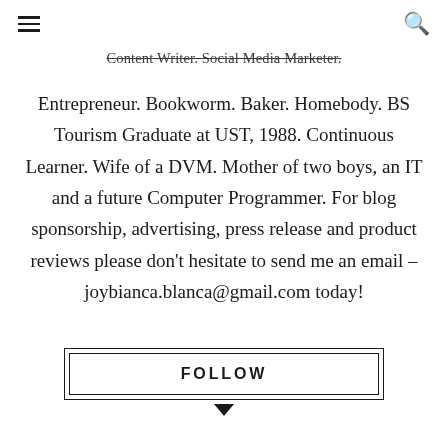[hamburger menu icon] [search icon]
Content Writer. Social Media Marketer.
Entrepreneur. Bookworm. Baker. Homebody. BS Tourism Graduate at UST, 1988. Continuous Learner. Wife of a DVM. Mother of two boys, an IT and a future Computer Programmer. For blog sponsorship, advertising, press release and product reviews please don't hesitate to send me an email – joybianca.blanca@gmail.com today!
FOLLOW